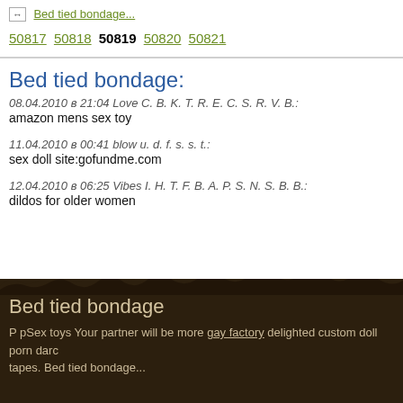Bed tied bondage...
50817 50818 50819 50820 50821
Bed tied bondage:
08.04.2010 в 21:04 Love C. B. K. T. R. E. C. S. R. V. B.:
amazon mens sex toy
11.04.2010 в 00:41 blow u. d. f. s. s. t.:
sex doll site:gofundme.com
12.04.2010 в 06:25 Vibes I. H. T. F. B. A. P. S. N. S. B. B.:
dildos for older women
Bed tied bondage
P pSex toys Your partner will be more gay factory delighted custom doll porn darcis tapes. Bed tied bondage...